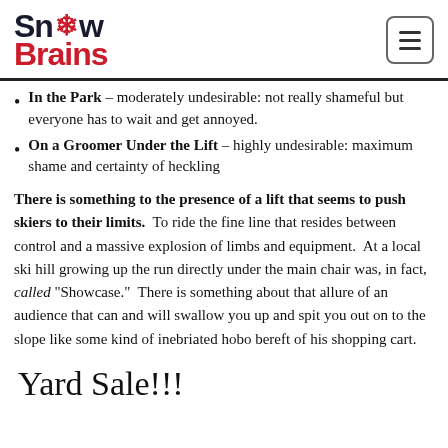Snow Brains
In the Park – moderately undesirable: not really shameful but everyone has to wait and get annoyed.
On a Groomer Under the Lift – highly undesirable: maximum shame and certainty of heckling
There is something to the presence of a lift that seems to push skiers to their limits. To ride the fine line that resides between control and a massive explosion of limbs and equipment. At a local ski hill growing up the run directly under the main chair was, in fact, called "Showcase." There is something about that allure of an audience that can and will swallow you up and spit you out on to the slope like some kind of inebriated hobo bereft of his shopping cart.
Yard Sale!!!